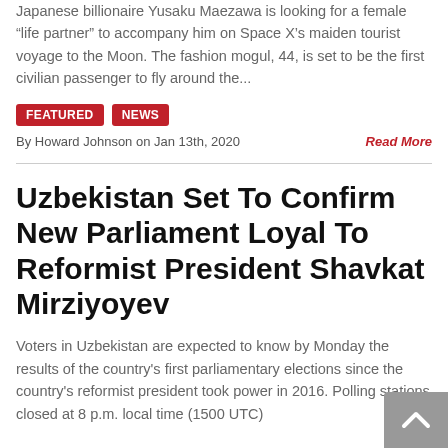Japanese billionaire Yusaku Maezawa is looking for a female “life partner” to accompany him on Space X’s maiden tourist voyage to the Moon. The fashion mogul, 44, is set to be the first civilian passenger to fly around the...
FEATURED
NEWS
By Howard Johnson on Jan 13th, 2020   Read More
Uzbekistan Set To Confirm New Parliament Loyal To Reformist President Shavkat Mirziyoyev
Voters in Uzbekistan are expected to know by Monday the results of the country’s first parliamentary elections since the country’s reformist president took power in 2016. Polling stations closed at 8 p.m. local time (1500 UTC)